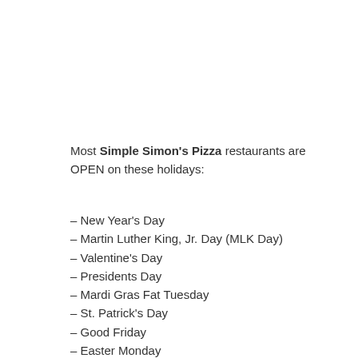Most Simple Simon's Pizza restaurants are OPEN on these holidays:
– New Year's Day
– Martin Luther King, Jr. Day (MLK Day)
– Valentine's Day
– Presidents Day
– Mardi Gras Fat Tuesday
– St. Patrick's Day
– Good Friday
– Easter Monday
– Cinco de Mayo
– Mother's Day
– Memorial Day
– Juneteenth (June 19)